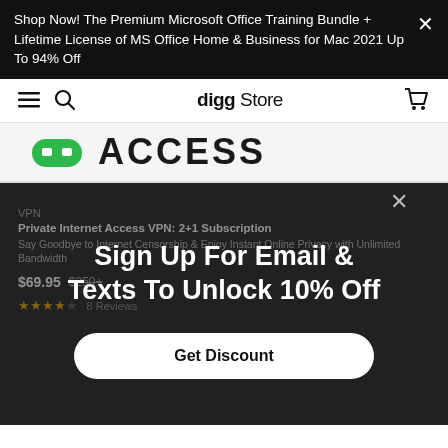Shop Now! The Premium Microsoft Office Training Bundle + Lifetime License of MS Office Home & Business for Mac 2021 Up To 94% Off
[Figure (screenshot): Digg Store navigation bar with hamburger menu, search icon, digg Store logo, and cart icon]
[Figure (logo): Private Internet Access VPN logo with green icon and ACCESS text in large bold letters]
Sign Up For Email & Texts To Unlock 10% Off
VPN
Private Internet Access VPN: 2+1 Subscription
Say Goodbye to Internet Censorship & Enjoy Instant Online Privacy with Unlimited Bandwidth
$69.95  $250+
★★★★☆  8 Reviews
Get Discount